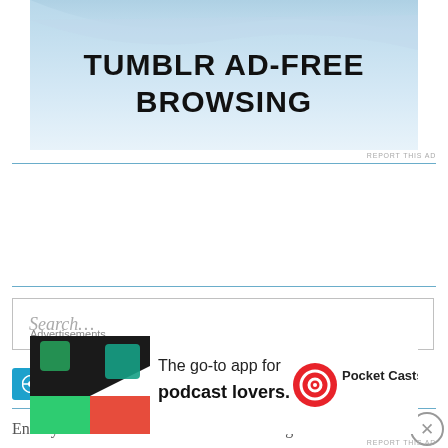[Figure (screenshot): Tumblr Ad-Free Browsing advertisement banner with blue sky and wave background]
REPORT THIS AD
Search...
[Figure (screenshot): Follow beccabynature button with WordPress logo and follower count 5,179]
Enter your email address to follow this blog and
Advertisements
[Figure (screenshot): Pocket Casts advertisement: The go-to app for podcast lovers]